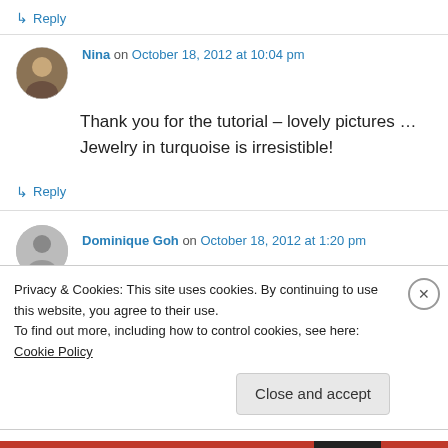↳ Reply
Nina on October 18, 2012 at 10:04 pm
Thank you for the tutorial – lovely pictures … Jewelry in turquoise is irresistible!
↳ Reply
Dominique Goh on October 18, 2012 at 1:20 pm
Lovely collage that you made, I too try to play...
Privacy & Cookies: This site uses cookies. By continuing to use this website, you agree to their use.
To find out more, including how to control cookies, see here: Cookie Policy
Close and accept